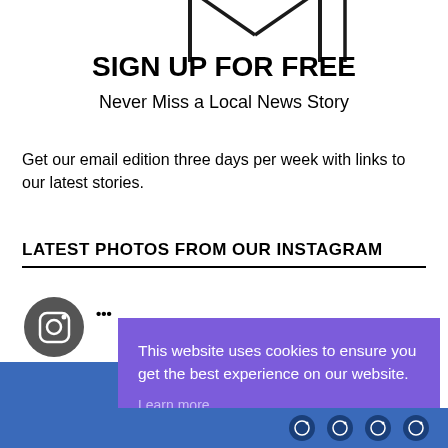[Figure (illustration): Partial envelope/letter icon at top center of page]
SIGN UP FOR FREE
Never Miss a Local News Story
Get our email edition three days per week with links to our latest stories.
LATEST PHOTOS FROM OUR INSTAGRAM
[Figure (screenshot): Instagram profile icon (circular dark grey) with partial handle text visible]
This website uses cookies to ensure you get the best experience on our website.
Learn more
Got it